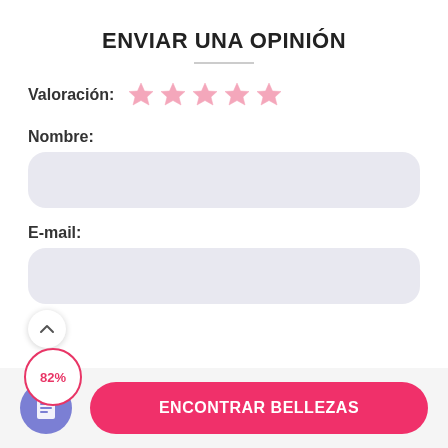ENVIAR UNA OPINIÓN
Valoración:
[Figure (illustration): Five pink star icons representing a rating system]
Nombre:
[Figure (screenshot): Empty rounded rectangle input field for name]
E-mail:
[Figure (screenshot): Empty rounded rectangle input field for email, with scroll-up button overlay and 82% progress badge]
Messaggio:
[Figure (illustration): Document/notes icon button in purple circle]
ENCONTRAR BELLEZAS